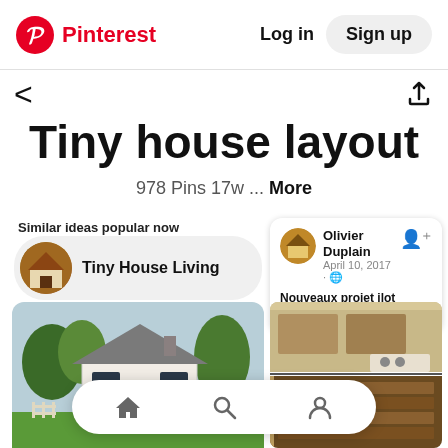Pinterest  Log in  Sign up
Tiny house layout
978 Pins 17w ... More
Similar ideas popular now
Tiny House Living
Olivier Duplain
April 10, 2017 · 🌐
Nouveaux projet ilot congelo !! Dany McNicoll
[Figure (photo): Photo of a small white tiny house exterior with dark windows, surrounded by greenery and trees]
[Figure (photo): Two photos showing kitchen renovation project with wooden drawer/chest panels]
Home  Search  Profile navigation icons